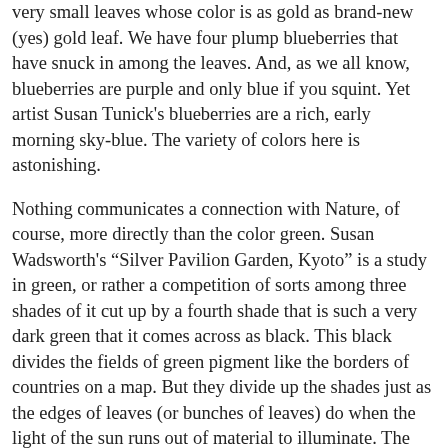very small leaves whose color is as gold as brand-new (yes) gold leaf. We have four plump blueberries that have snuck in among the leaves. And, as we all know, blueberries are purple and only blue if you squint. Yet artist Susan Tunick's blueberries are a rich, early morning sky-blue. The variety of colors here is astonishing.
Nothing communicates a connection with Nature, of course, more directly than the color green. Susan Wadsworth's “Silver Pavilion Garden, Kyoto” is a study in green, or rather a competition of sorts among three shades of it cut up by a fourth shade that is such a very dark green that it comes across as black. This black divides the fields of green pigment like the borders of countries on a map. But they divide up the shades just as the edges of leaves (or bunches of leaves) do when the light of the sun runs out of material to illuminate. The shadow that lurks behind these leaves carves the border around that living vegetation, allowing the surfaces of the leaves themselves to reflect the sun’s light back to the viewer.